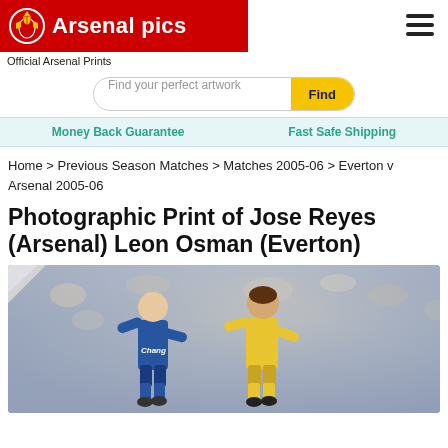[Figure (logo): Arsenal Pics logo — red banner with Arsenal crest and white bold text 'Arsenal pics']
Official Arsenal Prints
Find your perfect artwork  Find
Money Back Guarantee        Fast Safe Shipping
Home > Previous Season Matches > Matches 2005-06 > Everton v Arsenal 2005-06
Photographic Print of Jose Reyes (Arsenal) Leon Osman (Everton)
[Figure (photo): Football match photo showing two players — one in Everton blue shirt with Chang sponsor, one in Arsenal yellow away kit — running on a pitch with crowd in the background]